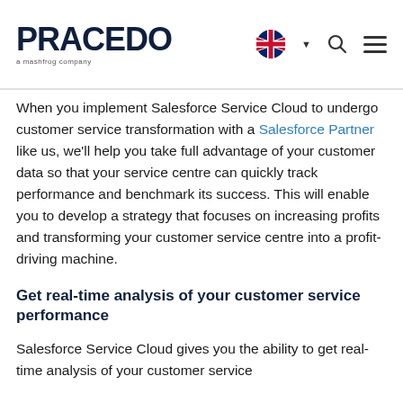PRACEDO a mashfrog company
When you implement Salesforce Service Cloud to undergo customer service transformation with a Salesforce Partner like us, we'll help you take full advantage of your customer data so that your service centre can quickly track performance and benchmark its success. This will enable you to develop a strategy that focuses on increasing profits and transforming your customer service centre into a profit-driving machine.
Get real-time analysis of your customer service performance
Salesforce Service Cloud gives you the ability to get real-time analysis of your customer service